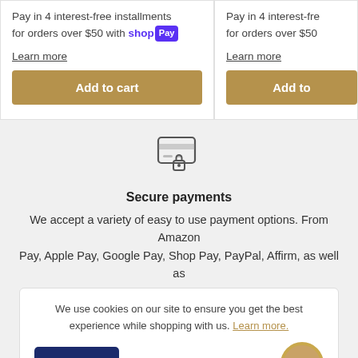Pay in 4 interest-free installments for orders over $50 with Shop Pay
Learn more
Add to cart
Pay in 4 interest-free for orders over $50
Add to
[Figure (illustration): Secure payments icon: credit card with lock symbol]
Secure payments
We accept a variety of easy to use payment options. From Amazon Pay, Apple Pay, Google Pay, Shop Pay, PayPal, Affirm, as well as
We use cookies on our site to ensure you get the best experience while shopping with us. Learn more.
[Figure (logo): Round gold merchant logo]